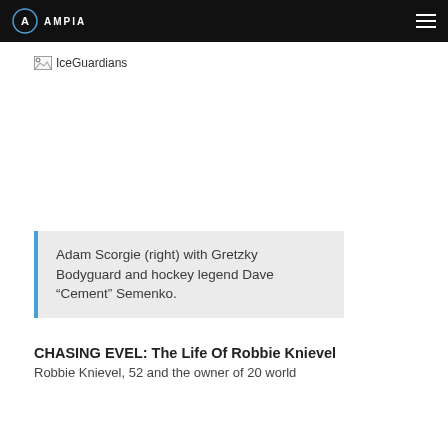AMPIA
[Figure (screenshot): Broken image placeholder for IceGuardians]
Adam Scorgie (right) with Gretzky Bodyguard and hockey legend Dave “Cement” Semenko.
CHASING EVEL: The Life Of Robbie Knievel
Robbie Knievel, 52 and the owner of 20 world